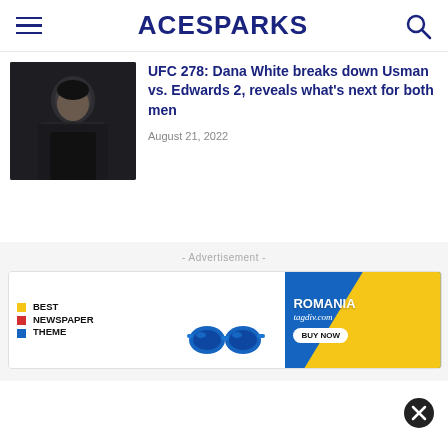ACESPARKS
[Figure (photo): A man in a dark jacket, partial view, dark background]
UFC 278: Dana White breaks down Usman vs. Edwards 2, reveals what's next for both men
August 21, 2022
- Advertisement -
[Figure (other): Advertisement banner: Best Newspaper Theme, Romania tagdiv.com, Buy Now button, blue sunglasses graphic]
[Figure (other): Close/dismiss button (X) in bottom right corner]